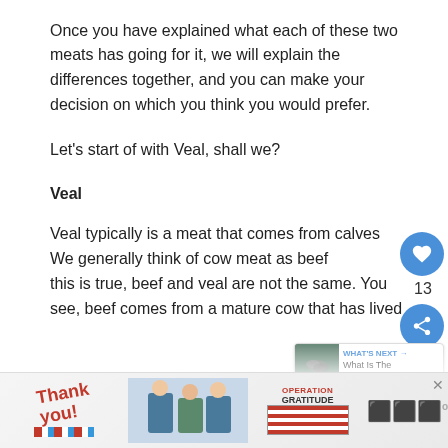Once you have explained what each of these two meats has going for it, we will explain the differences together, and you can make your decision on which you think you would prefer.
Let's start of with Veal, shall we?
Veal
Veal typically is a meat that comes from calves. We generally think of cow meat as beef, but while this is true, beef and veal are not the same. You see, beef comes from a mature cow that has lived its ...  ily of the
[Figure (other): Advertisement banner: thank you military nurses Operation Gratitude ad with close button]
[Figure (other): Heart like button with count 13 and share button on right side. What's Next panel with fish image and text 'What Is The Difference...']